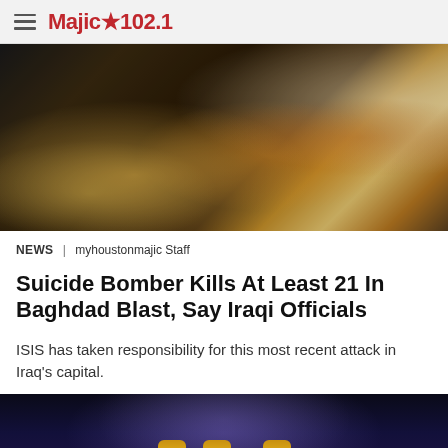Majic★102.1
[Figure (photo): Candlelight vigil with many lit candles and flowers, close-up with bokeh background]
NEWS | myhoustonmajic Staff
Suicide Bomber Kills At Least 21 In Baghdad Blast, Say Iraqi Officials
ISIS has taken responsibility for this most recent attack in Iraq's capital.
[Figure (photo): Raised fists against a dark night sky with purple light effects and trees in background]
• • •